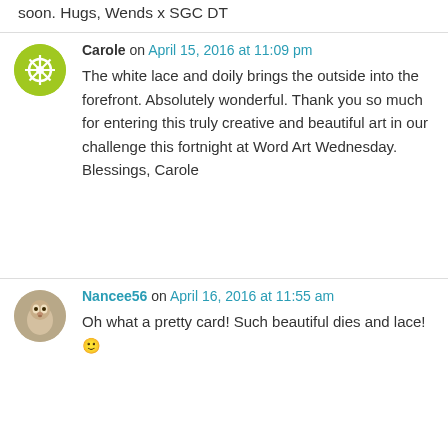soon. Hugs, Wends x SGC DT
Carole on April 15, 2016 at 11:09 pm
The white lace and doily brings the outside into the forefront. Absolutely wonderful. Thank you so much for entering this truly creative and beautiful art in our challenge this fortnight at Word Art Wednesday.
Blessings, Carole
Nancee56 on April 16, 2016 at 11:55 am
Oh what a pretty card! Such beautiful dies and lace! 🙂